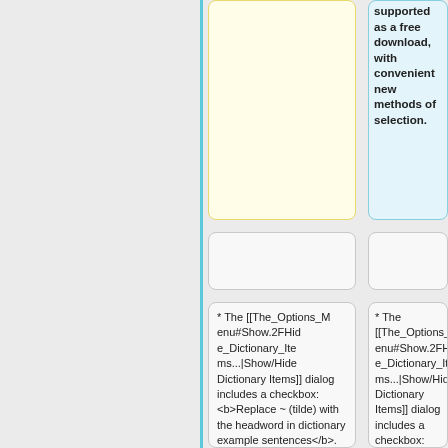supported as a free download, with convenient new methods of selection.
* The [[The_Options_Menu#Show.2FHide_Dictionary_Items...|Show/Hide Dictionary Items]] dialog includes a checkbox: <b>Replace ~ (tilde) with the headword in dictionary example sentences</b>. This works for Cidiǎn and Yīng-
* The [[The_Options_Menu#Show.2FHide_Dictionary_Items...|Show/Hide Dictionary Items]] dialog includes a checkbox: <b>Replace ~ (tilde) with the headword in dictionary example sentences</b>. This works for Cidiǎn and Yīng-